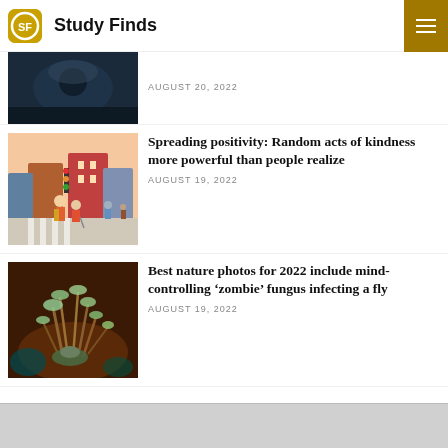Study Finds
AUGUST 20, 2022
[Figure (photo): Dark atmospheric photo, partial view at top of page]
[Figure (illustration): Illustration of people crossing a street at a zebra crossing; an older woman with a cane being helped by a younger person]
Spreading positivity: Random acts of kindness more powerful than people realize
AUGUST 19, 2022
[Figure (photo): Close-up macro photo of a zombie fungus (Ophiocordyceps) growing from an insect/fly]
Best nature photos for 2022 include mind-controlling ‘zombie’ fungus infecting a fly
AUGUST 19, 2022